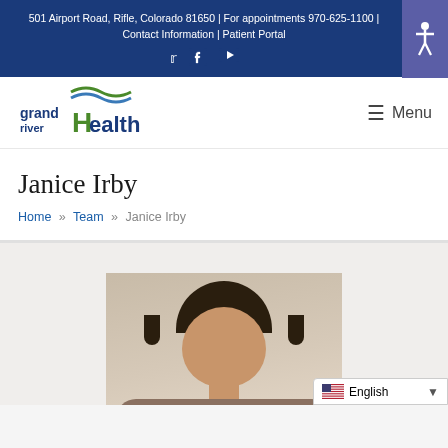501 Airport Road, Rifle, Colorado 81650 | For appointments 970-625-1100 | Contact Information | Patient Portal
[Figure (logo): Grand River Health logo with green river wave graphic and 'grand river Health' text]
Janice Irby
Home » Team » Janice Irby
[Figure (photo): Portrait photo of Janice Irby, dark hair, against neutral background]